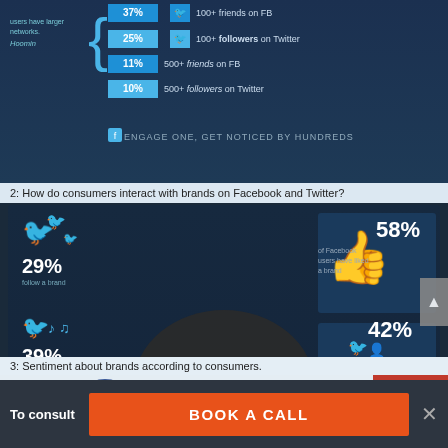[Figure (infographic): Top infographic showing social network statistics: 25% have 100+ followers on Twitter, 11% have 500+ friends on FB, 10% have 500+ followers on Twitter. Tagline: ENGAGE ONE, GET NOTICED BY HUNDREDS]
2:  How do consumers interact with brands on Facebook and Twitter?
[Figure (infographic): Dark blue infographic showing brand interaction stats: 29% follow a brand (Twitter), 39% have tweeted about a brand, 29% have retweeted about a brand, 58% of Facebook users have liked a brand, 42% have mentioned a brand in a status update, 41% have shared a link, video or story about a brand. Center: 'Brands' bubble. Bottom: USERS WANT TO TALK ABOUT YOUR BRAND, SO GIVE THEM A REASON TO]
3:  Sentiment about brands according to consumers.
[Figure (infographic): Facebook logo with 1.5x statistic: There are you more of those who say that their brand mentions in status updates on Facebook are mostly positive. Red icons with smiley faces on the right.]
To consult
BOOK A CALL